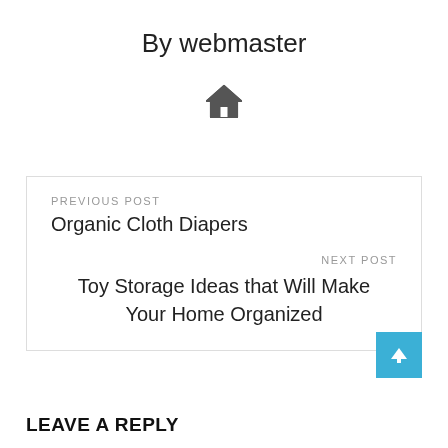By webmaster
[Figure (illustration): Home icon (house silhouette)]
PREVIOUS POST
Organic Cloth Diapers
NEXT POST
Toy Storage Ideas that Will Make Your Home Organized
[Figure (other): Scroll-to-top button with upward arrow, cyan/blue background]
LEAVE A REPLY